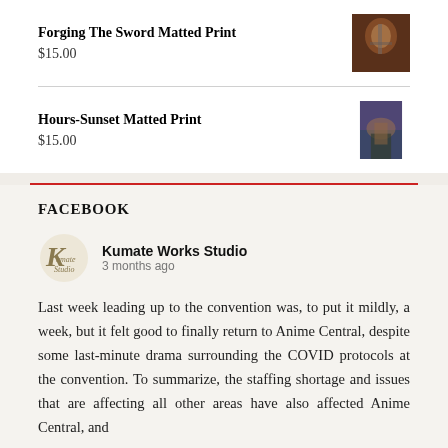Forging The Sword Matted Print
$15.00
Hours-Sunset Matted Print
$15.00
FACEBOOK
[Figure (logo): Kumate Works Studio logo — stylized K with cursive text]
Kumate Works Studio
3 months ago
Last week leading up to the convention was, to put it mildly, a week, but it felt good to finally return to Anime Central, despite some last-minute drama surrounding the COVID protocols at the convention. To summarize, the staffing shortage and issues that are affecting all other areas have also affected Anime Central, and